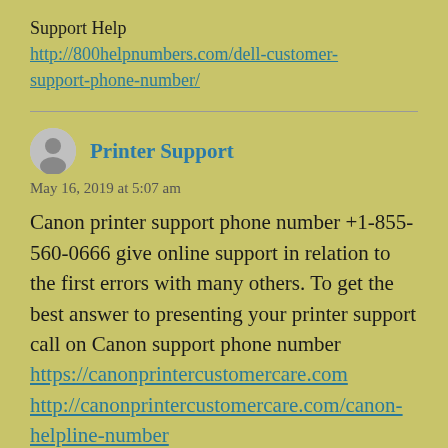Support Help
http://800helpnumbers.com/dell-customer-support-phone-number/
Printer Support
May 16, 2019 at 5:07 am
Canon printer support phone number +1-855-560-0666 give online support in relation to the first errors with many others. To get the best answer to presenting your printer support call on Canon support phone number
https://canonprintercustomercare.com
http://canonprintercustomercare.com/canon-helpline-number